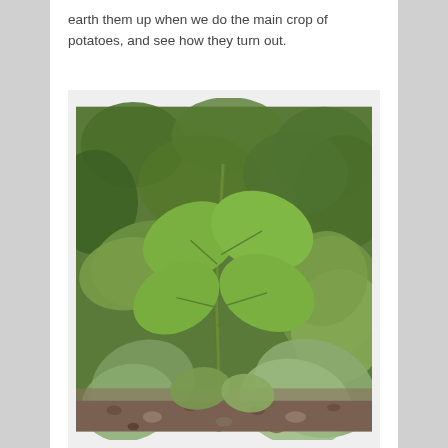earth them up when we do the main crop of potatoes, and see how they turn out.
[Figure (photo): A close-up photograph of potato plants growing in soil, showing green leaves of varying sizes with brown/grey soil and small stones visible at the base of the plants.]